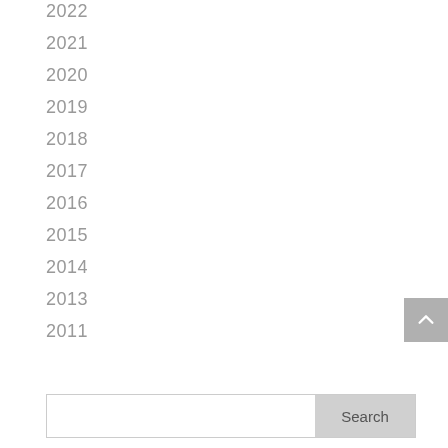2022
2021
2020
2019
2018
2017
2016
2015
2014
2013
2011
Search